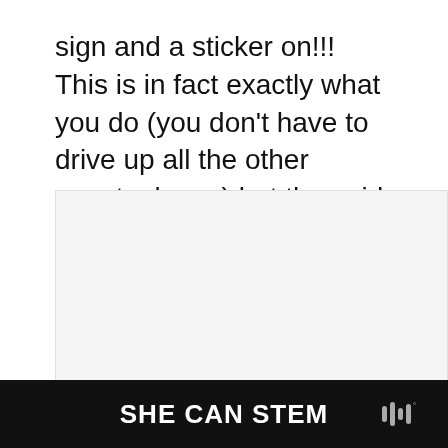sign and a sticker on!!! This is in fact exactly what you do (you don't have to drive up all the other country lanes) but the said sticker is a little difficult to see so we did pass it the first time!
[Figure (photo): Image placeholder area with carousel dots and social interaction buttons (heart/like with count 113, share button). A 'What's Next' recommendation box shows a thumbnail and text 'Ideas for Days Out with the...']
SHE CAN STEM